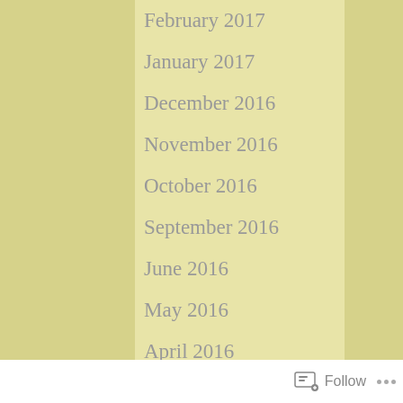February 2017
January 2017
December 2016
November 2016
October 2016
September 2016
June 2016
May 2016
April 2016
March 2016
Follow ...